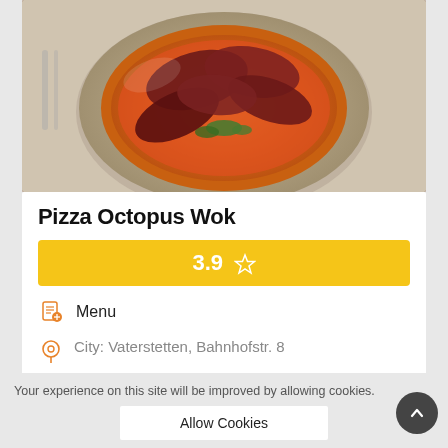[Figure (photo): Photo of a pizza with meat toppings on a plate, viewed from above. Dark reddish-brown meat slices arranged on an orange-toned pizza base with herbs visible.]
Pizza Octopus Wok
[Figure (infographic): Yellow rating bar showing 3.9 with a star icon]
Menu
City: Vaterstetten, Bahnhofstr. 8
The restaurant offers you 202 on their menu, of which the average price is 7 €, and here you can find all the 202 dishes and drinks on their menu.
Your experience on this site will be improved by allowing cookies.
Allow Cookies